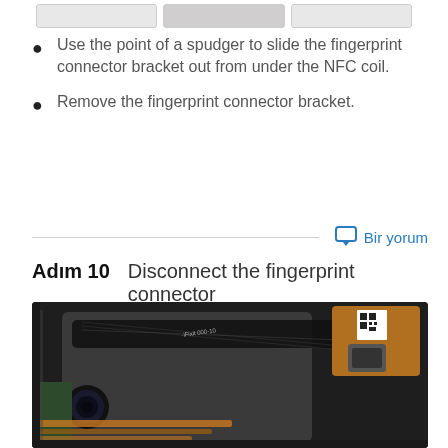[Figure (photo): Three thumbnail images of device repair steps at the top of the page]
Use the point of a spudger to slide the fingerprint connector bracket out from under the NFC coil.
Remove the fingerprint connector bracket.
Bir yorum
Adım 10   Disconnect the fingerprint connector
[Figure (photo): Close-up photo of smartphone internals showing a flex cable strip across the device, fingerprint sensor area, and internal components including camera and circuit board]